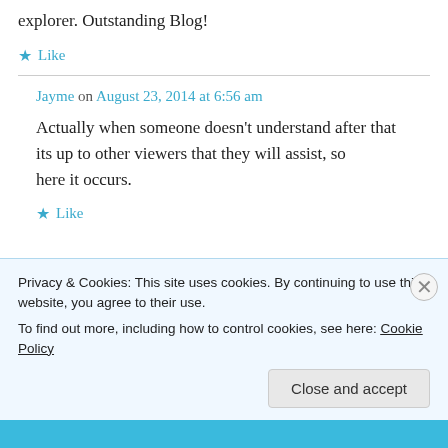explorer. Outstanding Blog!
★ Like
Jayme on August 23, 2014 at 6:56 am
Actually when someone doesn't understand after that its up to other viewers that they will assist, so here it occurs.
★ Like
Privacy & Cookies: This site uses cookies. By continuing to use this website, you agree to their use.
To find out more, including how to control cookies, see here: Cookie Policy
Close and accept